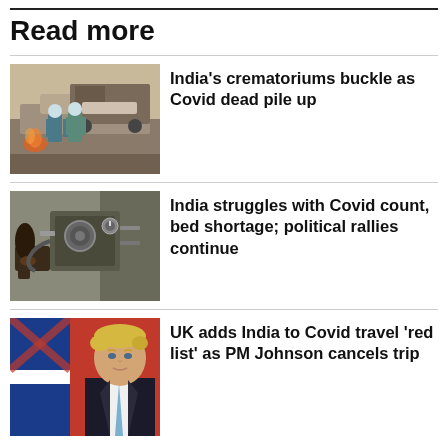Read more
[Figure (photo): Workers in PPE suits handling a body at an outdoor cremation site in India]
India's crematoriums buckle as Covid dead pile up
[Figure (photo): Person working on oxygen or medical equipment in India]
India struggles with Covid count, bed shortage; political rallies continue
[Figure (photo): Boris Johnson in front of a UK flag]
UK adds India to Covid travel 'red list' as PM Johnson cancels trip